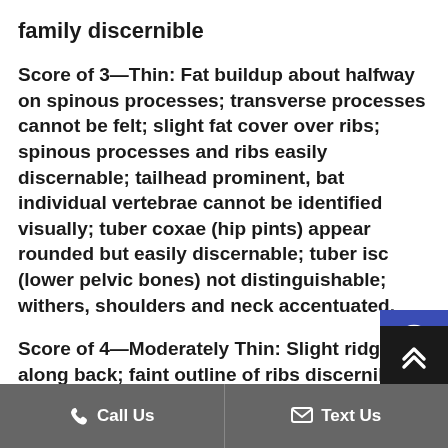family discernible
Score of 3—Thin: Fat buildup about halfway on spinous processes; transverse processes cannot be felt; slight fat cover over ribs; spinous processes and ribs easily discernable; tailhead prominent, bat individual vertebrae cannot be identified visually; tuber coxae (hip pints) appear rounded but easily discernable; tuber isc (lower pelvic bones) not distinguishable; withers, shoulders and neck accentuated.
Score of 4—Moderately Thin: Slight ridge along back; faint outline of ribs discernible
Call Us   Text Us